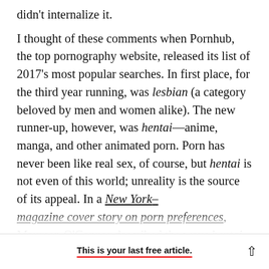didn't internalize it.
I thought of these comments when Pornhub, the top pornography website, released its list of 2017's most popular searches. In first place, for the third year running, was lesbian (a category beloved by men and women alike). The new runner-up, however, was hentai—anime, manga, and other animated porn. Porn has never been like real sex, of course, but hentai is not even of this world; unreality is the source of its appeal. In a New York– magazine cover story on porn preferences, Maureen O'Connor described the ways hentai
This is your last free article.